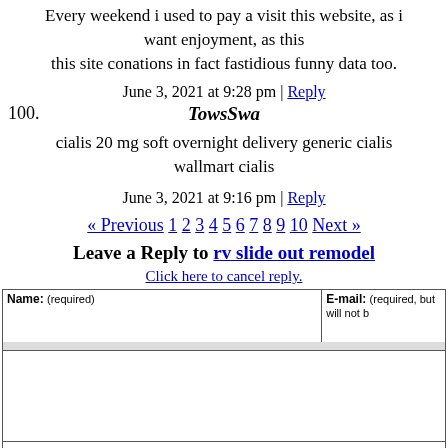Every weekend i used to pay a visit this website, as i want enjoyment, as this this site conations in fact fastidious funny data too.
June 3, 2021 at 9:28 pm | Reply
100.
TowsSwa
cialis 20 mg soft overnight delivery generic cialis wallmart cialis
June 3, 2021 at 9:16 pm | Reply
« Previous 1 2 3 4 5 6 7 8 9 10 Next »
Leave a Reply to rv slide out remodel
Click here to cancel reply.
| Name: (required) | E-mail: (required, but will not be published) |
| --- | --- |
|  |  |